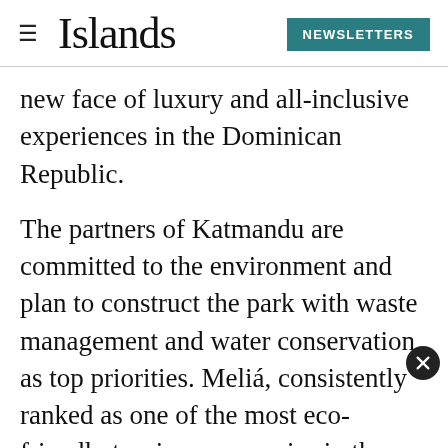≡ Islands NEWSLETTERS
new face of luxury and all-inclusive experiences in the Dominican Republic.
The partners of Katmandu are committed to the environment and plan to construct the park with waste management and water conservation as top priorities. Meliá, consistently ranked as one of the most eco-friendly tourism companies in the world, operates 82 properties around the world that are EarthCheck certified.
The brand also seeks to bring social and